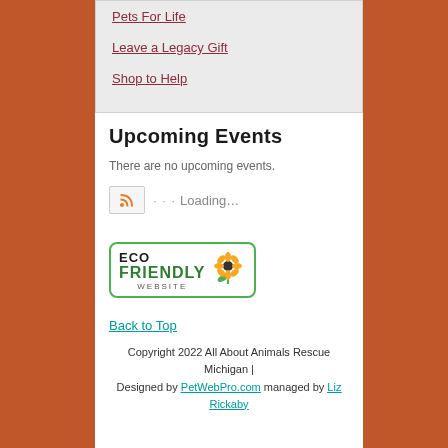Pets For Life
Leave a Legacy Gift
Shop to Help
Upcoming Events
There are no upcoming events.
Loading…
[Figure (logo): Eco Friendly Website badge with green border and sunflower icon]
Back to Top
Copyright 2022 All About Animals Rescue Michigan | Designed by PetWebPro.com managed by Liz Rickaby